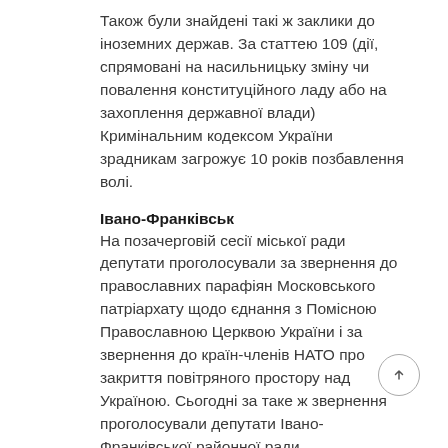Також були знайдені такі ж заклики до іноземних держав. За статтею 109 (дії, спрямовані на насильницьку зміну чи повалення конституційного ладу або на захоплення державної влади) Кримінальним кодексом України зрадникам загрожує 10 років позбавлення волі.
Івано-Франківськ
На позачерговій сесії міської ради депутати проголосували за звернення до православних парафіян Московського патріархату щодо єднання з Помісною Православною Церквою України і за звернення до країн-членів НАТО про закриття повітряного простору над Україною. Сьогодні за таке ж звернення проголосували депутати Івано-Франківської районної ради.